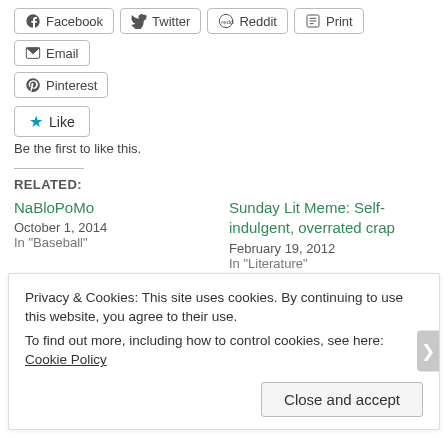[Figure (screenshot): Social share buttons: Facebook, Twitter, Reddit, Print, Email, Pinterest]
[Figure (screenshot): Like button with star icon and 'Be the first to like this.' text]
Be the first to like this.
RELATED:
NaBloPoMo
October 1, 2014
In "Baseball"
Sunday Lit Meme: Self-indulgent, overrated crap
February 19, 2012
In "Literature"
The more things change ...
October 4, 2010
Privacy & Cookies: This site uses cookies. By continuing to use this website, you agree to their use.
To find out more, including how to control cookies, see here: Cookie Policy
Close and accept